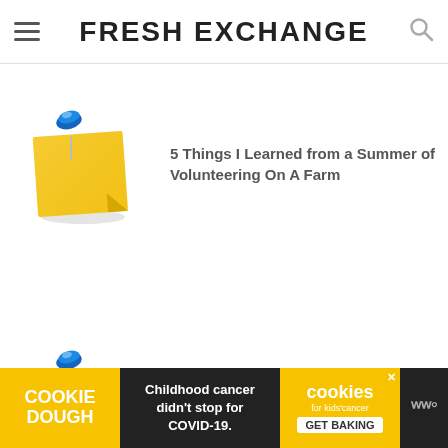Fresh Exchange
[Figure (illustration): Yellow sticky note with blue thumbtack — thumbnail for first list item]
5 Things I Learned from a Summer of Volunteering On A Farm
[Figure (illustration): Yellow sticky note with blue thumbtack — thumbnail for second list item]
Blog Content
[Figure (infographic): Cookie Dough ad banner: 'Childhood cancer didn't stop for COVID-19.' with Cookies for Kids' Cancer GET BAKING button]